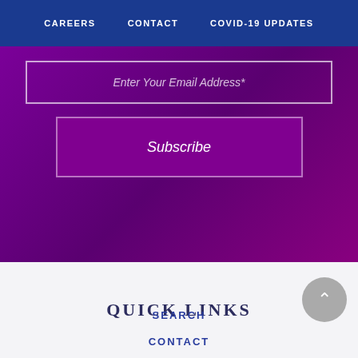CAREERS   CONTACT   COVID-19 UPDATES
Enter Your Email Address*
Subscribe
QUICK LINKS
SEARCH
CONTACT
RESOURCES
BLOG POSTS